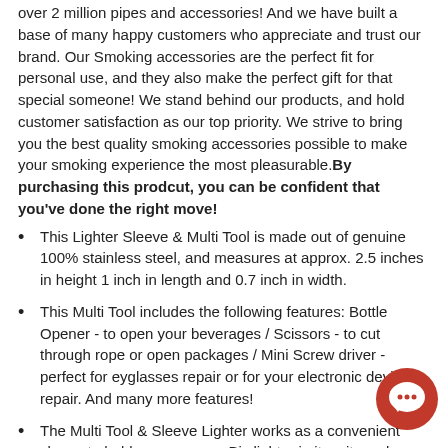over 2 million pipes and accessories! And we have built a base of many happy customers who appreciate and trust our brand. Our Smoking accessories are the perfect fit for personal use, and they also make the perfect gift for that special someone! We stand behind our products, and hold customer satisfaction as our top priority. We strive to bring you the best quality smoking accessories possible to make your smoking experience the most pleasurable.By purchasing this prodcut, you can be confident that you've done the right move!
This Lighter Sleeve & Multi Tool is made out of genuine 100% stainless steel, and measures at approx. 2.5 inches in height 1 inch in length and 0.7 inch in width.
This Multi Tool includes the following features: Bottle Opener - to open your beverages / Scissors - to cut through rope or open packages / Mini Screw driver - perfect for eyglasses repair or for your electronic devices repair. And many more features!
The Multi Tool & Sleeve Lighter works as a convenient sleeve to hold your average Bic lighter in it so it can be handy at all times. It also comes with a small key chain ring at the bo of it so you can attach it to your set of keys and have it with you wherever you go.